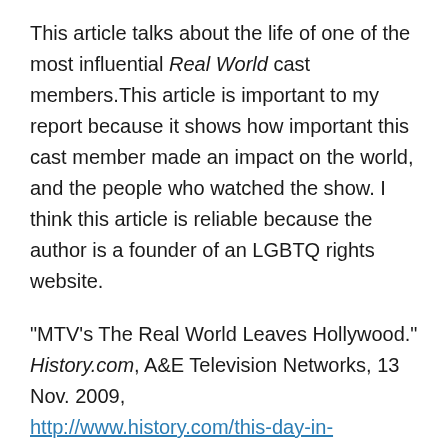This article talks about the life of one of the most influential Real World cast members.This article is important to my report because it shows how important this cast member made an impact on the world, and the people who watched the show. I think this article is reliable because the author is a founder of an LGBTQ rights website.
“MTV’s The Real World Leaves Hollywood.” History.com, A&E Television Networks, 13 Nov. 2009, http://www.history.com/this-day-in-history/mtvs-the-real-world-leaves-hollywood.
This article talks about the start of MTV as a channel, and the show The Real World. This article is important because it talks about the start of the reality tv boom. I